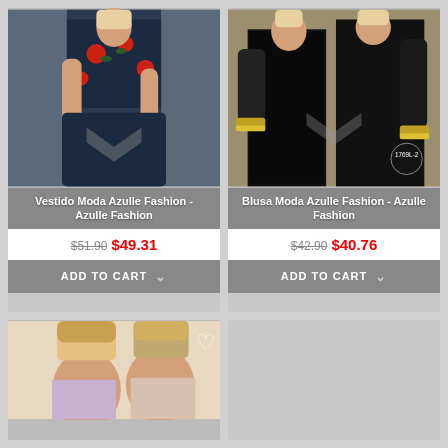[Figure (photo): Woman modeling Vestido Moda Azulle Fashion - navy blue floral dress]
Vestido Moda Azulle Fashion - Azulle Fashion
$51.90 $49.31
ADD TO CART
[Figure (photo): Two women modeling Blusa Moda Azulle Fashion - black long sleeve blouse, badge 1769L-2]
Blusa Moda Azulle Fashion - Azulle Fashion
$42.90 $40.76
ADD TO CART
[Figure (photo): Two women modeling fashion item, partially visible at bottom]